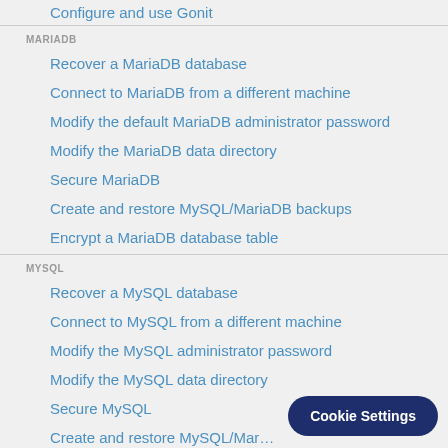Configure and use Gonit
MARIADB
Recover a MariaDB database
Connect to MariaDB from a different machine
Modify the default MariaDB administrator password
Modify the MariaDB data directory
Secure MariaDB
Create and restore MySQL/MariaDB backups
Encrypt a MariaDB database table
MYSQL
Recover a MySQL database
Connect to MySQL from a different machine
Modify the MySQL administrator password
Modify the MySQL data directory
Secure MySQL
Create and restore MySQL/Mar…
Cookie Settings